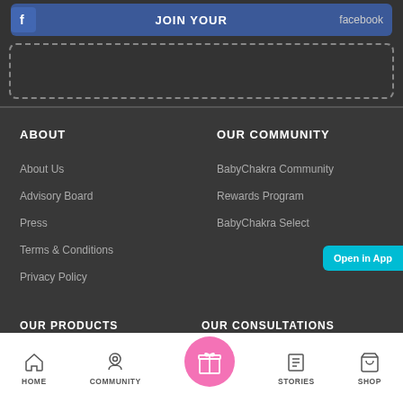[Figure (screenshot): Facebook join button (blue bar with Facebook icon and JOIN YOUR... label) with dashed border box below in dark section]
ABOUT
About Us
Advisory Board
Press
Terms & Conditions
Privacy Policy
OUR COMMUNITY
BabyChakra Community
Rewards Program
BabyChakra Select
[Figure (screenshot): Open in App teal button on right edge]
OUR PRODUCTS
OUR CONSULTATIONS
HygieneCare Range
Online Nutritionist
[Figure (screenshot): Bottom navigation bar with HOME, COMMUNITY, center gift icon (pink circle), STORIES, SHOP icons and labels]